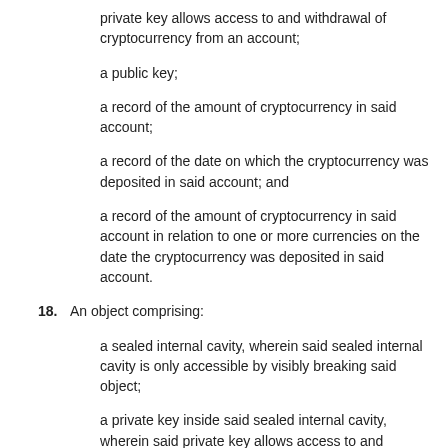private key allows access to and withdrawal of cryptocurrency from an account;
a public key;
a record of the amount of cryptocurrency in said account;
a record of the date on which the cryptocurrency was deposited in said account; and
a record of the amount of cryptocurrency in said account in relation to one or more currencies on the date the cryptocurrency was deposited in said account.
18. An object comprising:
a sealed internal cavity, wherein said sealed internal cavity is only accessible by visibly breaking said object;
a private key inside said sealed internal cavity, wherein said private key allows access to and withdrawal of cryptocurrency from an account;
a public key;